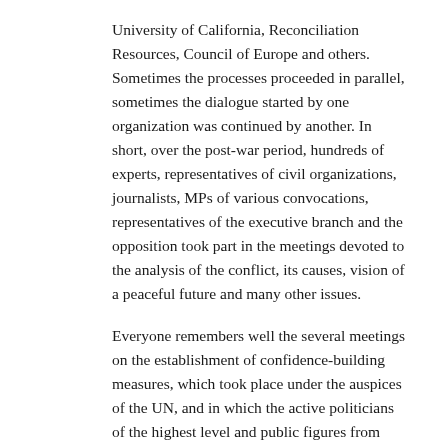University of California, Reconciliation Resources, Council of Europe and others. Sometimes the processes proceeded in parallel, sometimes the dialogue started by one organization was continued by another. In short, over the post-war period, hundreds of experts, representatives of civil organizations, journalists, MPs of various convocations, representatives of the executive branch and the opposition took part in the meetings devoted to the analysis of the conflict, its causes, vision of a peaceful future and many other issues.
Everyone remembers well the several meetings on the establishment of confidence-building measures, which took place under the auspices of the UN, and in which the active politicians of the highest level and public figures from both sides participated. These meetings took place in Istanbul, Athens and Yalta. All such initiatives were primarily peacekeeping-oriented. The Schleining Dialogue Process is quite famous. There, politicians “without ties”, as well as representatives of civil society, who acted as the initiators and organizers of this process, participated. Moreover, they were responsible for